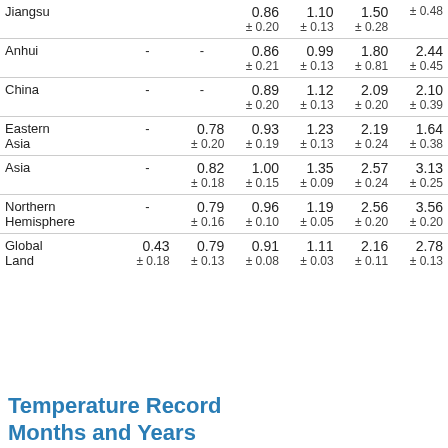| Region | Col1 | Col2 | Col3 | Col4 | Col5 | Col6 |
| --- | --- | --- | --- | --- | --- | --- |
| Jiangsu |  |  | 0.86 ±0.20 | 1.10 ±0.13 | 1.50 ±0.28 | ±0.48 |
| Anhui | - | - | 0.86 ±0.21 | 0.99 ±0.13 | 1.80 ±0.81 | 2.44 ±0.45 |
| China | - | - | 0.89 ±0.20 | 1.12 ±0.13 | 2.09 ±0.20 | 2.10 ±0.39 |
| Eastern Asia | - | 0.78 ±0.20 | 0.93 ±0.19 | 1.23 ±0.13 | 2.19 ±0.24 | 1.64 ±0.38 |
| Asia | - | 0.82 ±0.18 | 1.00 ±0.15 | 1.35 ±0.09 | 2.57 ±0.24 | 3.13 ±0.25 |
| Northern Hemisphere | - | 0.79 ±0.16 | 0.96 ±0.10 | 1.19 ±0.05 | 2.56 ±0.20 | 3.56 ±0.20 |
| Global Land | 0.43 ±0.18 | 0.79 ±0.13 | 0.91 ±0.08 | 1.11 ±0.03 | 2.16 ±0.11 | 2.78 ±0.13 |
Temperature Record Months and Years